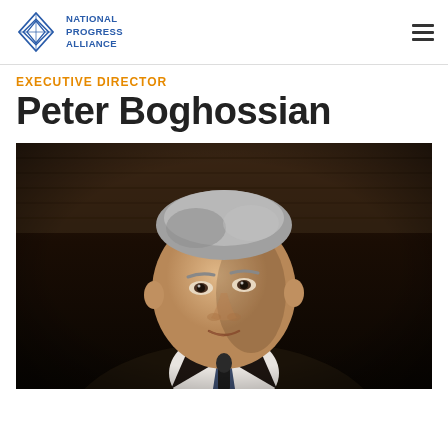National Progress Alliance
EXECUTIVE DIRECTOR
Peter Boghossian
[Figure (photo): Photo of Peter Boghossian, a middle-aged man with grey hair, wearing a dark suit and tie, speaking at a podium with a microphone, against a dark wood paneled background.]